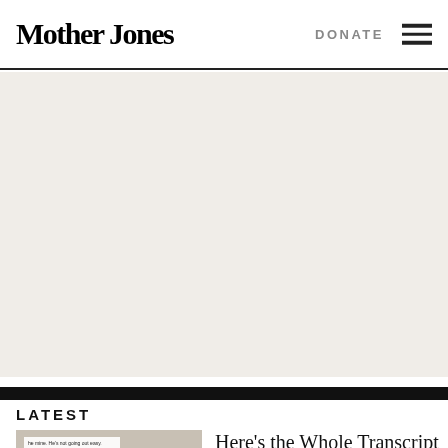Mother Jones | DONATE
[Figure (other): Advertisement banner placeholder area with light beige background]
LATEST
[Figure (photo): Thumbnail photo showing Steve Bannon with an overlaid text caption bubble reading: 'he mine. He's not going out easy. Trump, if Biden...amp is gonna do same crazy...nt go.']
Here's the Whole Transcript of That Leaked Steve